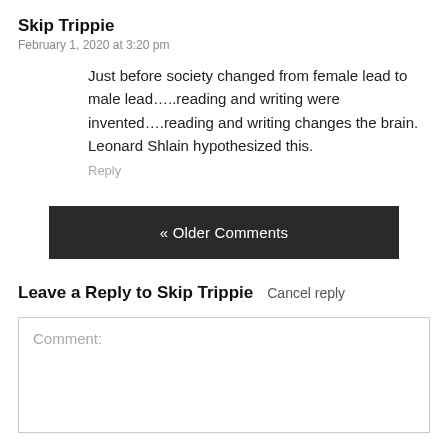Skip Trippie
February 1, 2020 at 3:20 pm
Just before society changed from female lead to male lead…..reading and writing were invented….reading and writing changes the brain. Leonard Shlain hypothesized this.
Reply
« Older Comments
Leave a Reply to Skip Trippie
Cancel reply
Comment: